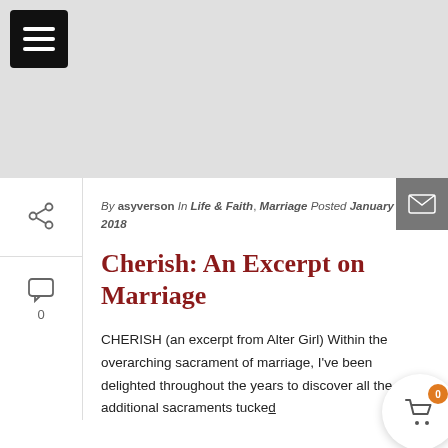[Figure (screenshot): Light gray header banner with black hamburger menu button in top-left corner]
By asyverson In Life & Faith, Marriage Posted January 18, 2018
Cherish: An Excerpt on Marriage
CHERISH (an excerpt from Alter Girl) Within the overarching sacrament of marriage, I've been delighted throughout the years to discover all the additional sacraments tucked